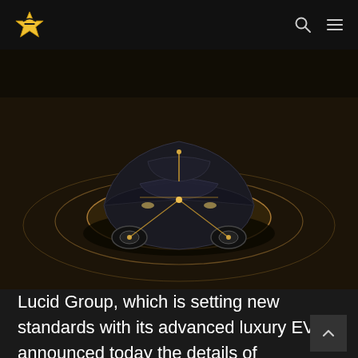[Figure (photo): Top-down angled view of a dark Lucid Air electric vehicle on a dark background with glowing circular sensor rings emanating from the car, illustrating the DreamDrive ADAS system with illuminated connection lines on the vehicle.]
Lucid Group, which is setting new standards with its advanced luxury EVs, announced today the details of DreamDrive™, the most technically sophisticated advanced driver-assistance system (ADAS).